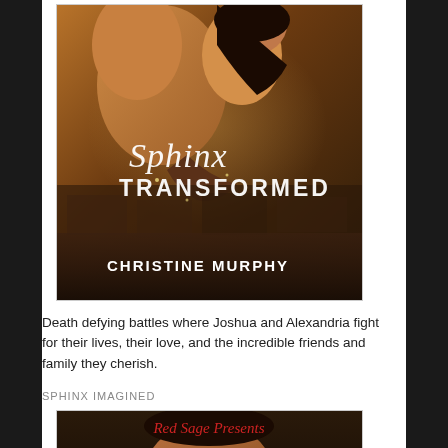[Figure (photo): Book cover for 'Sphinx Transformed' by Christine Murphy. Shows a man and woman in a romantic embrace with dark, moody fantasy tones. Title 'Sphinx TRANSFORMED' in decorative script and serif fonts, author name 'CHRISTINE MURPHY' at bottom.]
Death defying battles where Joshua and Alexandria fight for their lives, their love, and the incredible friends and family they cherish.
SPHINX IMAGINED
[Figure (photo): Partial book cover for 'Sphinx Imagined' showing 'Red Sage Presents' text in red at the top and a partial view of a man's face.]